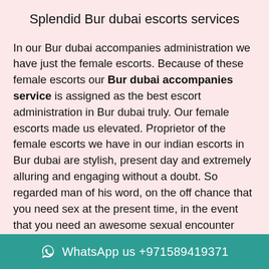Splendid Bur dubai escorts services
In our Bur dubai accompanies administration we have just the female escorts. Because of these female escorts our Bur dubai accompanies service is assigned as the best escort administration in Bur dubai truly. Our female escorts made us elevated. Proprietor of the female escorts we have in our indian escorts in Bur dubai are stylish, present day and extremely alluring and engaging without a doubt. So regarded man of his word, on the off chance that you need sex at the present time, in the event that you need an awesome sexual encounter from a Bur dubai female escort right now at that point don't endure the crescendo of your pulse, simply come here in our Bur dubai escort administration to appreciate the wonderful sexual organization of any of our bewildering female escorts or make a call to our
WhatsApp us +971589419371